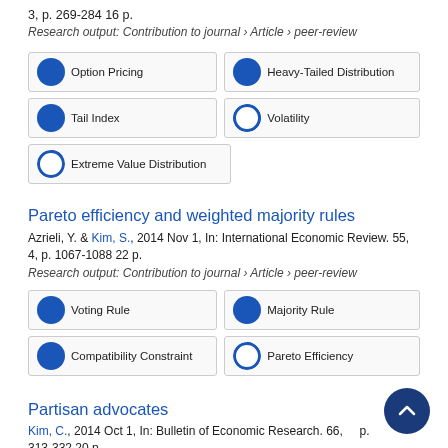3, p. 269-284 16 p.
Research output: Contribution to journal › Article › peer-review
[Figure (infographic): Keyword boxes for first article: Option Pricing (100%), Heavy-Tailed Distribution (100%), Tail Index (100%), Volatility (~75%), Extreme Value Distribution (~30%)]
Pareto efficiency and weighted majority rules
Azrieli, Y. & Kim, S., 2014 Nov 1, In: International Economic Review. 55, 4, p. 1067-1088 22 p.
Research output: Contribution to journal › Article › peer-review
[Figure (infographic): Keyword boxes for second article: Voting Rule (100%), Majority Rule (100%), Compatibility Constraint (100%), Pareto Efficiency (~15%)]
Partisan advocates
Kim, C., 2014 Oct 1, In: Bulletin of Economic Research. 66, p. 313-332 20 p.